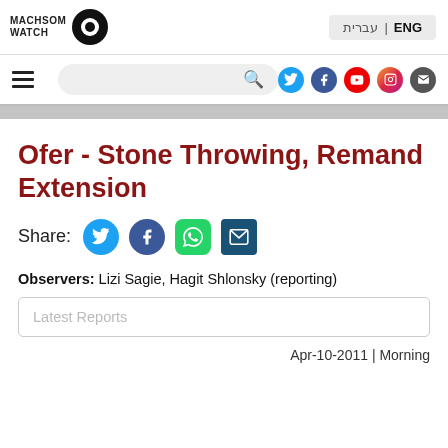MACHSOM WATCH | ENG | עברית
Ofer - Stone Throwing, Remand Extension
Share:
Observers: Lizi Sagie, Hagit Shlonsky (reporting)
Latest Reports
Apr-10-2011 | Morning